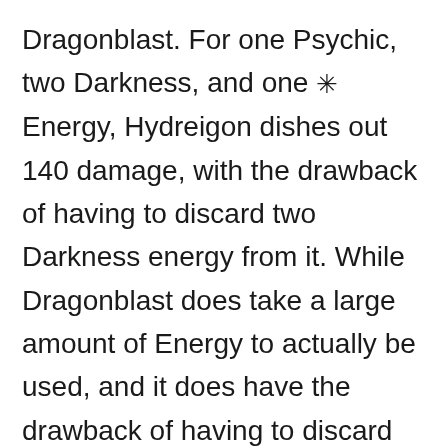Dragonblast. For one Psychic, two Darkness, and one ✳ Energy, Hydreigon dishes out 140 damage, with the drawback of having to discard two Darkness energy from it. While Dragonblast does take a large amount of Energy to actually be used, and it does have the drawback of having to discard two Energy from Hydreigon in order to use it, don't forget to look at the positive side of Dragonblast.
With Hydreigon you now have a heavy